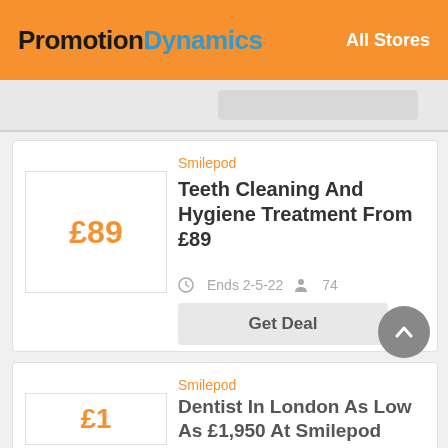PromotionDynamics — All Stores
Smilepod
Teeth Cleaning And Hygiene Treatment From £89
Ends 2-5-22   74
Get Deal
Smilepod
Dentist In London As Low As £1,950 At Smilepod
£89
£1